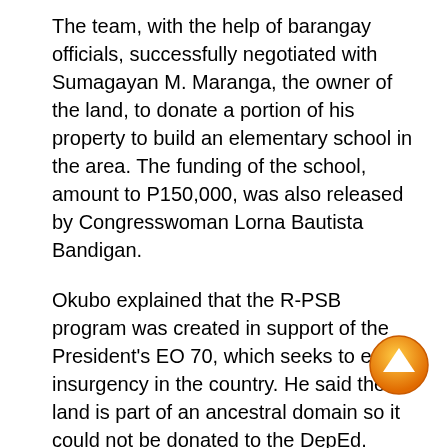The team, with the help of barangay officials, successfully negotiated with Sumagayan M. Maranga, the owner of the land, to donate a portion of his property to build an elementary school in the area. The funding of the school, amount to P150,000, was also released by Congresswoman Lorna Bautista Bandigan.
Okubo explained that the R-PSB program was created in support of the President's EO 70, which seeks to end insurgency in the country. He said the land is part of an ancestral domain so it could not be donated to the DepEd.
Police officers also commit to helping build the school to cut down the labor cost. The school is targeted to be operational by next year.
Datu Julio S. Bagi, the consultative and advisory body chairperson of the Tagakaulo tribe, shared that about
[Figure (illustration): Orange circular scroll-up button with white upward arrow in the center, positioned at the lower right of the page.]